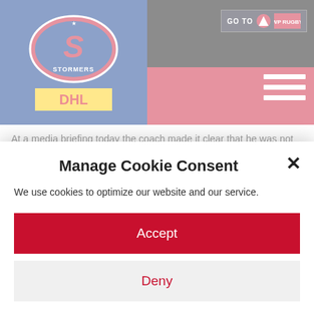[Figure (logo): Stormers rugby team logo with DHL sponsor logo on blue background, with red navigation bar and black header]
At a media briefing today the coach made it clear that he was not interested in any more side shows.
Putting the match fee and bonus issue to bed, the coach said, “Our players have had a very good deal and are a happy unit. We have issued a release with Sarpa and will say no more on the issue.”
Returning to the rugby the coach said, “These next 4 games are crucial to our campaign and it’s all about the rugby for us. The Cheetahs are a good side and we will need to be top of our game.
Manage Cookie Consent
We use cookies to optimize our website and our service.
Accept
Deny